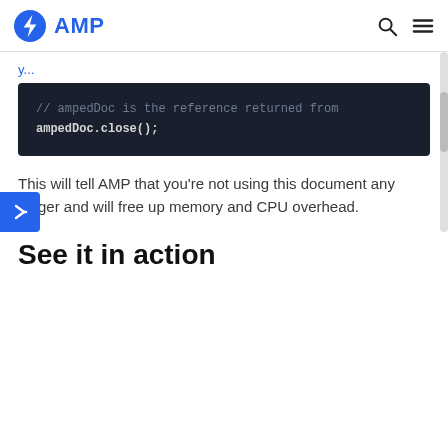AMP
[Figure (screenshot): Code block with dark background showing: // ampedDoc is the reference returned from  ampedDoc.close();]
This will tell AMP that you're not using this document any longer and will free up memory and CPU overhead.
See it in action